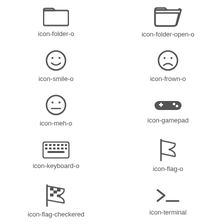[Figure (illustration): icon-folder-o: outline folder icon]
icon-folder-o
[Figure (illustration): icon-folder-open-o: outline open folder icon]
icon-folder-open-o
[Figure (illustration): icon-smile-o: smiley face circle icon]
icon-smile-o
[Figure (illustration): icon-frown-o: frowning face circle icon]
icon-frown-o
[Figure (illustration): icon-meh-o: neutral face circle icon]
icon-meh-o
[Figure (illustration): icon-gamepad: gamepad controller icon]
icon-gamepad
[Figure (illustration): icon-keyboard-o: keyboard outline icon]
icon-keyboard-o
[Figure (illustration): icon-flag-o: outline flag icon]
icon-flag-o
[Figure (illustration): icon-flag-checkered: checkered flag icon]
icon-flag-checkered
[Figure (illustration): icon-terminal: terminal prompt icon]
icon-terminal